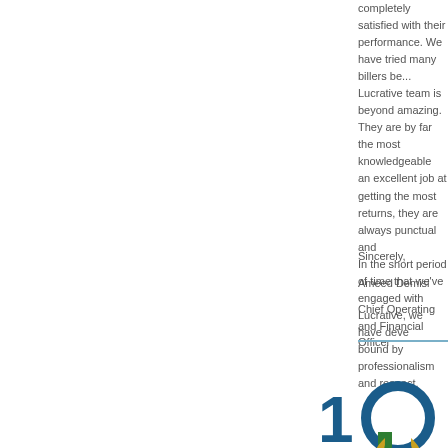completely satisfied with their performance. We have tried many billers be... Lucrative team is beyond amazing. They are by far the most knowledgeable... an excellent job at getting the most returns, they are always punctual and... In the short period of time that we've engaged with Lucrative, we have deve... bound by professionalism and respect.
Sincerely,

Ameed Demisi

Chief Operating and Financial Officer
[Figure (logo): 10 Acre Ranch logo with teal circular arc, green and yellow leaf/eye graphic, bold teal text ACRE RANCH, and yellow tagline TAKE THE PATH FROM ADDICTION]